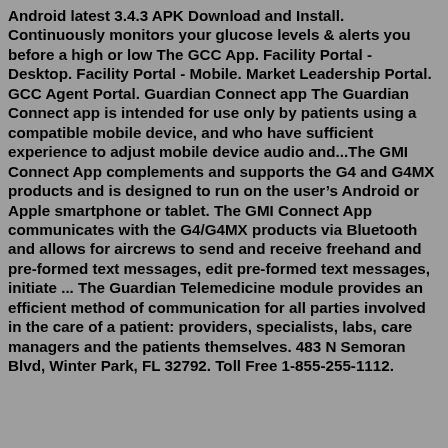Android latest 3.4.3 APK Download and Install. Continuously monitors your glucose levels & alerts you before a high or low The GCC App. Facility Portal - Desktop. Facility Portal - Mobile. Market Leadership Portal. GCC Agent Portal. Guardian Connect app The Guardian Connect app is intended for use only by patients using a compatible mobile device, and who have sufficient experience to adjust mobile device audio and...The GMI Connect App complements and supports the G4 and G4MX products and is designed to run on the user's Android or Apple smartphone or tablet. The GMI Connect App communicates with the G4/G4MX products via Bluetooth and allows for aircrews to send and receive freehand and pre-formed text messages, edit pre-formed text messages, initiate ... The Guardian Telemedicine module provides an efficient method of communication for all parties involved in the care of a patient: providers, specialists, labs, care managers and the patients themselves. 483 N Semoran Blvd, Winter Park, FL 32792. Toll Free 1-855-255-1112.